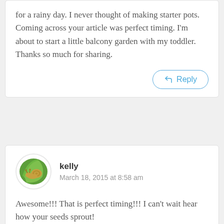for a rainy day. I never thought of making starter pots. Coming across your article was perfect timing. I'm about to start a little balcony garden with my toddler. Thanks so much for sharing.
Reply
kelly
March 18, 2015 at 8:58 am
Awesome!!! That is perfect timing!!! I can't wait hear how your seeds sprout!